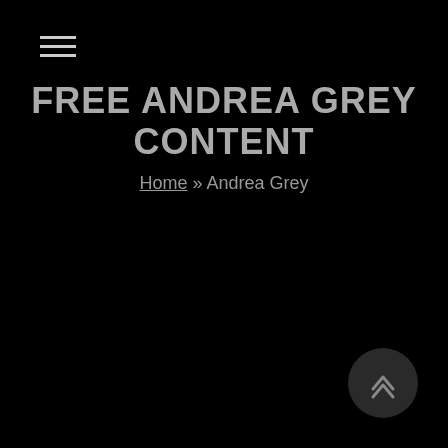≡
FREE ANDREA GREY CONTENT
Home » Andrea Grey